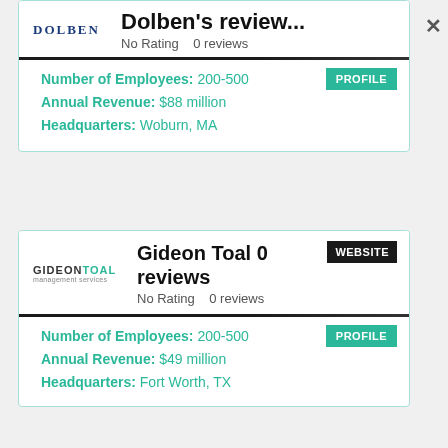Dolben  No Rating  0 reviews
Number of Employees: 200-500
Annual Revenue: $88 million
Headquarters: Woburn, MA
Gideon Toal 0 reviews
No Rating  0 reviews
Number of Employees: 200-500
Annual Revenue: $49 million
Headquarters: Fort Worth, TX